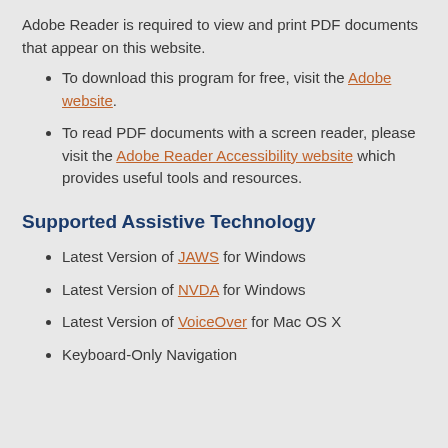Adobe Reader is required to view and print PDF documents that appear on this website.
To download this program for free, visit the Adobe website.
To read PDF documents with a screen reader, please visit the Adobe Reader Accessibility website which provides useful tools and resources.
Supported Assistive Technology
Latest Version of JAWS for Windows
Latest Version of NVDA for Windows
Latest Version of VoiceOver for Mac OS X
Keyboard-Only Navigation